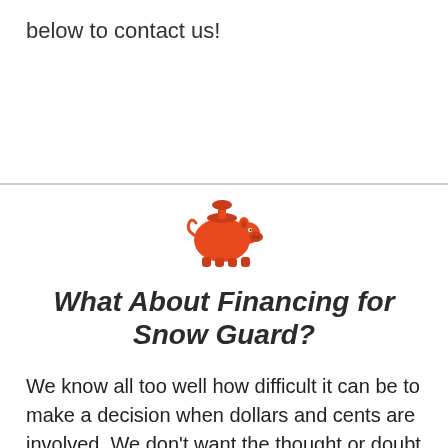below to contact us!
[Figure (illustration): Orange piggy bank icon with a small round coin slot on top]
What About Financing for Snow Guard?
We know all too well how difficult it can be to make a decision when dollars and cents are involved. We don't want the thought or doubt of paying for a